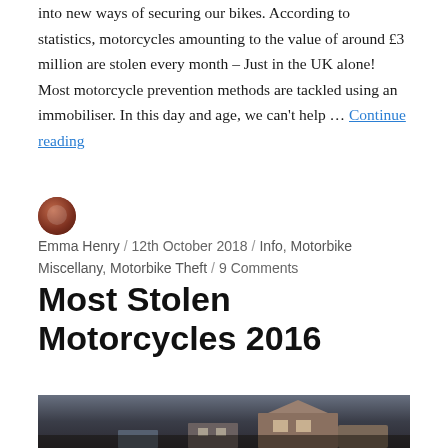into new ways of securing our bikes. According to statistics, motorcycles amounting to the value of around £3 million are stolen every month – Just in the UK alone! Most motorcycle prevention methods are tackled using an immobiliser. In this day and age, we can't help … Continue reading
Emma Henry / 12th October 2018 / Info, Motorbike Miscellany, Motorbike Theft / 9 Comments
Most Stolen Motorcycles 2016
[Figure (photo): Photograph of a street scene with buildings, partially visible at bottom of page]